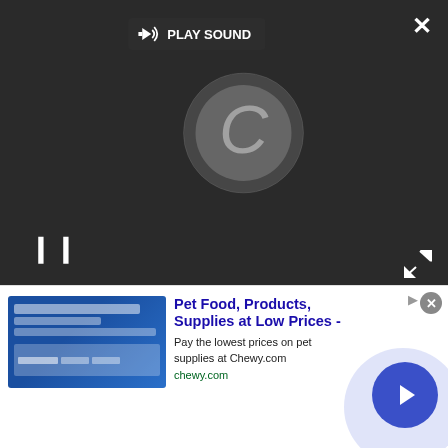[Figure (screenshot): Video player overlay on dark background with PLAY SOUND button at top center, loading spinner circle in center, pause (||) icon at bottom left, close (X) button at top right, and expand icon at bottom right]
also present. The camera is also capable of capturing images in raw format.
[Figure (photo): Top view of a white Panasonic compact digital camera showing the lens and top controls]
[Figure (screenshot): Advertisement banner for Chewy.com: Pet Food, Products, Supplies at Low Prices - Pay the lowest prices on pet supplies at Chewy.com, chewy.com, with a circular arrow/play button on the right]